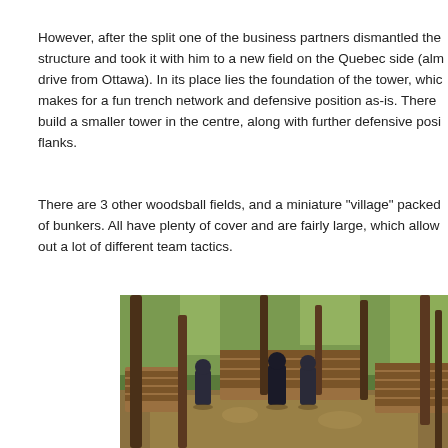However, after the split one of the business partners dismantled the structure and took it with him to a new field on the Quebec side (almost drive from Ottawa). In its place lies the foundation of the tower, which makes for a fun trench network and defensive position as-is. There build a smaller tower in the centre, along with further defensive positions flanks.
There are 3 other woodsball fields, and a miniature "village" packed of bunkers. All have plenty of cover and are fairly large, which allows out a lot of different team tactics.
[Figure (photo): Outdoor paintball woodsball field in a forest setting. Players in dark tactical gear move through a wooded area with log barriers/bunkers. Tall pine trees are visible throughout the scene.]